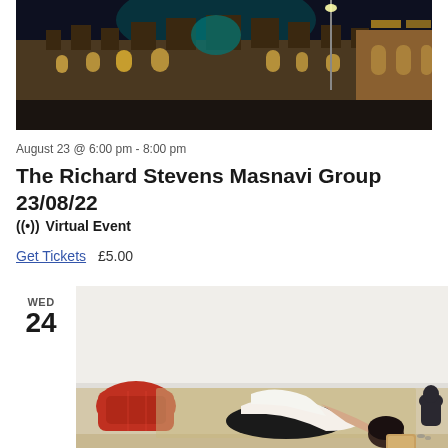[Figure (photo): Night photo of a historic building/mosque lit with warm yellow lights, with street lamps visible]
August 23 @ 6:00 pm - 8:00 pm
The Richard Stevens Masnavi Group 23/08/22
((•)) Virtual Event
Get Tickets  £5.00
WED 24
[Figure (photo): Person in white t-shirt and black pants doing a yoga forward fold stretch on a mat on the floor, with a red pillow and a dark figurine in the background]